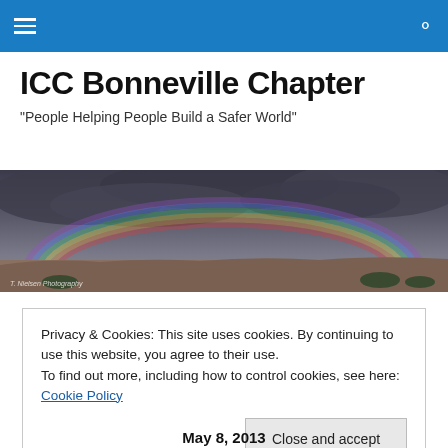ICC Bonneville Chapter — site navigation header with menu and search icons
ICC Bonneville Chapter
"People Helping People Build a Safer World"
[Figure (photo): Panoramic landscape photo showing a rainbow over a desert plain with dramatic storm clouds. Photo credit: T. Nielsen Photography]
Privacy & Cookies: This site uses cookies. By continuing to use this website, you agree to their use.
To find out more, including how to control cookies, see here: Cookie Policy
[Close and accept button]
May 8, 2013